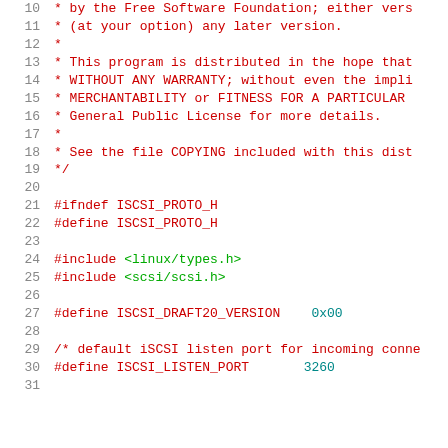Source code listing: iscsi_proto.h, lines 10-31
10   * by the Free Software Foundation; either vers
11   * (at your option) any later version.
12   *
13   * This program is distributed in the hope that
14   * WITHOUT ANY WARRANTY; without even the impli
15   * MERCHANTABILITY or FITNESS FOR A PARTICULAR
16   * General Public License for more details.
17   *
18   * See the file COPYING included with this dist
19   */
20
21   #ifndef ISCSI_PROTO_H
22   #define ISCSI_PROTO_H
23
24   #include <linux/types.h>
25   #include <scsi/scsi.h>
26
27   #define ISCSI_DRAFT20_VERSION    0x00
28
29   /* default iSCSI listen port for incoming conne
30   #define ISCSI_LISTEN_PORT       3260
31